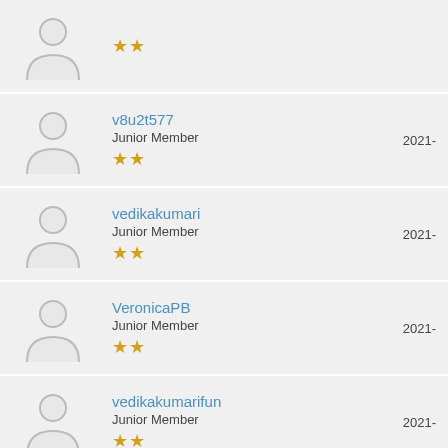(partial top row) - Junior Member, 2 stars
v8u2t577 - Junior Member - 2021-
vedikakumari - Junior Member - 2021-
VeronicaPB - Junior Member - 2021-
vedikakumarifun - Junior Member - 2021-
vite1102 - Account not Activated - 2021-
(partial bottom row)